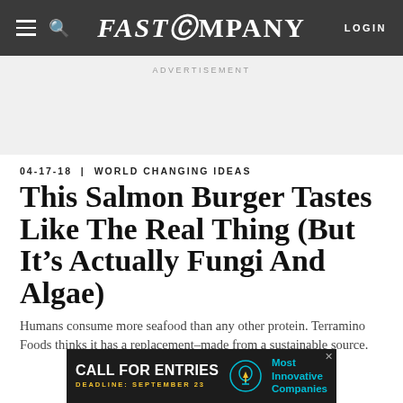FAST COMPANY | LOGIN
ADVERTISEMENT
04-17-18 | WORLD CHANGING IDEAS
This Salmon Burger Tastes Like The Real Thing (But It’s Actually Fungi And Algae)
Humans consume more seafood than any other protein. Terramino Foods thinks it has a replacement–made from a sustainable source.
[Figure (screenshot): Bottom advertisement banner: dark background with 'CALL FOR ENTRIES' text, 'DEADLINE: SEPTEMBER 23' in yellow, a lightbulb icon, and 'Most Innovative Companies' in cyan text]